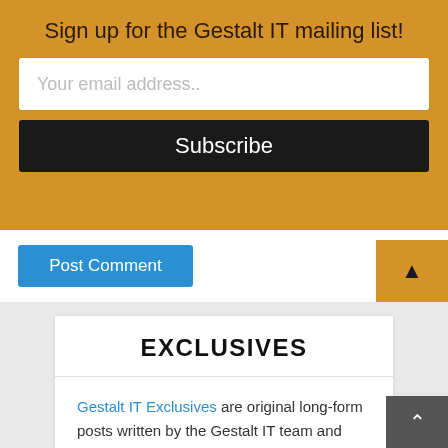Sign up for the Gestalt IT mailing list!
Your email address..
Subscribe
Post Comment
EXCLUSIVES
Gestalt IT Exclusives are original long-form posts written by the Gestalt IT team and published here first. Exclusives are highlighted in our weekly Gestalt News email. Sign up today, or follow us on Twitter!
RIVERBED